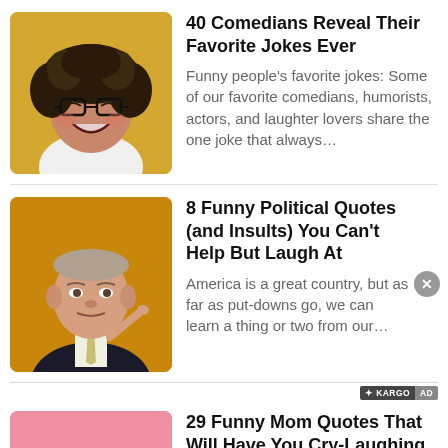[Figure (photo): Laughing woman with curly hair and glasses on yellow background]
40 Comedians Reveal Their Favorite Jokes Ever
Funny people's favorite jokes: Some of our favorite comedians, humorists, actors, and laughter lovers share the one joke that always…
[Figure (photo): Older man in suit gesturing with finger on orange background]
8 Funny Political Quotes (and Insults) You Can't Help But Laugh At
America is a great country, but as far as put-downs go, we can learn a thing or two from our…
+ KARGOAO
[Figure (photo): Pink background thumbnail]
29 Funny Mom Quotes That Will Have You Cry-Laughing